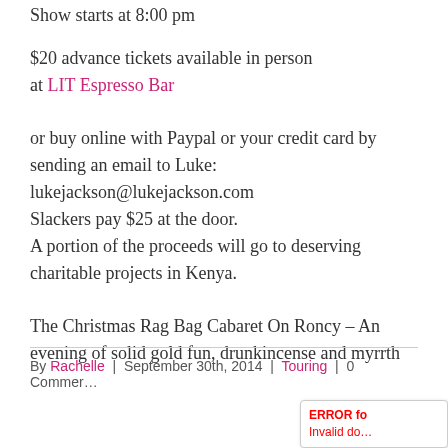Show starts at 8:00 pm
$20 advance tickets available in person at LIT Espresso Bar
or buy online with Paypal or your credit card by sending an email to Luke: lukejackson@lukejackson.com
Slackers pay $25 at the door.
A portion of the proceeds will go to deserving charitable projects in Kenya.
The Christmas Rag Bag Cabaret On Roncy – An evening of solid gold fun, drunkincense and myrrth
By Rachelle | September 30th, 2014 | Touring | 0 Comments